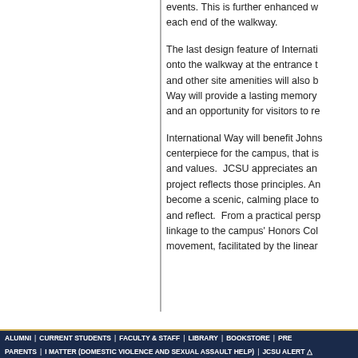events. This is further enhanced w... each end of the walkway.
The last design feature of Internatio... onto the walkway at the entrance t... and other site amenities will also b... Way will provide a lasting memory ... and an opportunity for visitors to re...
International Way will benefit Johns... centerpiece for the campus, that is ... and values.  JCSU appreciates an... project reflects those principles. An... become a scenic, calming place to... and reflect.  From a practical persp... linkage to the campus' Honors Col... movement, facilitated by the linear...
ALUMNI | CURRENT STUDENTS | FACULTY & STAFF | LIBRARY | BOOKSTORE | PRE... PARENTS | I MATTER (DOMESTIC VIOLENCE AND SEXUAL ASSAULT HELP) | JCSU ALERT △